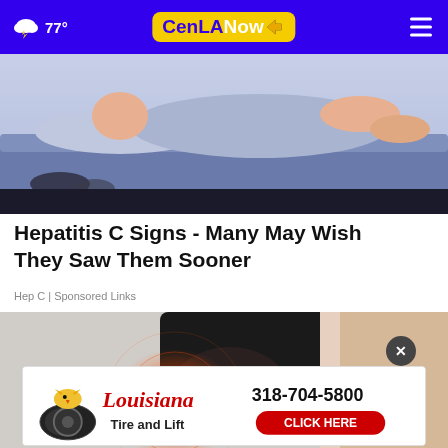CenLA Now — 77° weather header with navigation
[Figure (illustration): Illustration of a person lying in bed, sleeping, with blue/grey tones — top portion of a health article image]
Hepatitis C Signs - Many May Wish They Saw Them Sooner
Hep C | Sponsored Links
[Figure (photo): Photo of a person in a black shirt holding their lower back/hip area with red pain indicators visible]
[Figure (other): Louisiana Tire and Lift advertisement banner — 318-704-5800 CLICK HERE]